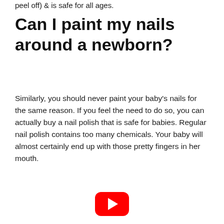peel off) & is safe for all ages.
Can I paint my nails around a newborn?
Similarly, you should never paint your baby's nails for the same reason. If you feel the need to do so, you can actually buy a nail polish that is safe for babies. Regular nail polish contains too many chemicals. Your baby will almost certainly end up with those pretty fingers in her mouth.
[Figure (other): YouTube play button / video embed placeholder — red rounded rectangle with white play triangle]